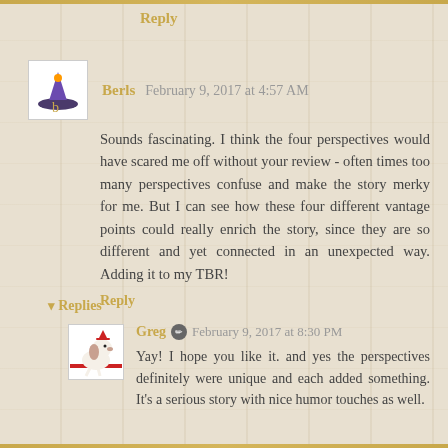Reply
Berls February 9, 2017 at 4:57 AM
Sounds fascinating. I think the four perspectives would have scared me off without your review - often times too many perspectives confuse and make the story merky for me. But I can see how these four different vantage points could really enrich the story, since they are so different and yet connected in an unexpected way. Adding it to my TBR!
Reply
Replies
Greg February 9, 2017 at 8:30 PM
Yay! I hope you like it. and yes the perspectives definitely were unique and each added something. It's a serious story with nice humor touches as well.